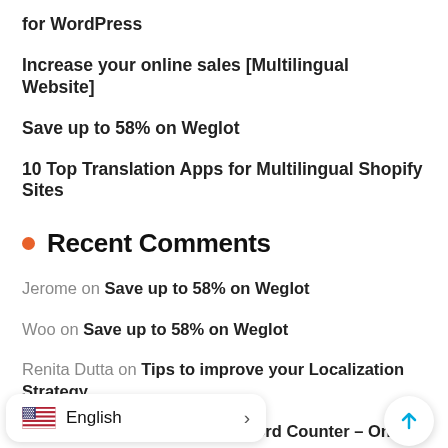for WordPress
Increase your online sales [Multilingual Website]
Save up to 58% on Weglot
10 Top Translation Apps for Multilingual Shopify Sites
Recent Comments
Jerome on Save up to 58% on Weglot
Woo on Save up to 58% on Weglot
Renita Dutta on Tips to improve your Localization Strategy
julius rosen on Free Website Word Counter – Online Tool
Verbolabs on Translate Your Website to Grow Tra… & R… utorial
English